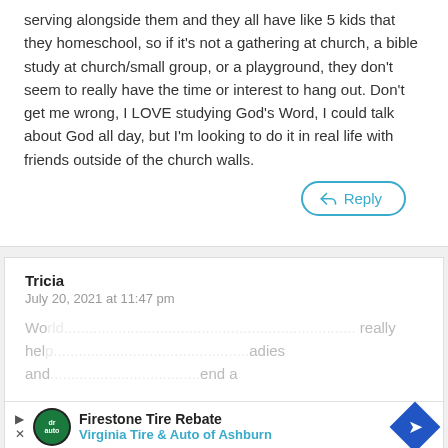serving alongside them and they all have like 5 kids that they homeschool, so if it's not a gathering at church, a bible study at church/small group, or a playground, they don't seem to really have the time or interest to hang out. Don't get me wrong, I LOVE studying God's Word, I could talk about God all day, but I'm looking to do it in real life with friends outside of the church walls.
Reply
Tricia
July 20, 2021 at 11:47 pm
Wow... [faded text] really help [faded] ladies and [faded] end a church, for last 8 years, and I have only one friend that I can call a friend. She is much older than me and we don't relate
[Figure (infographic): Advertisement banner: Firestone Tire Rebate, Virginia Tire & Auto of Ashburn, with green circular logo and blue diamond navigation icon]